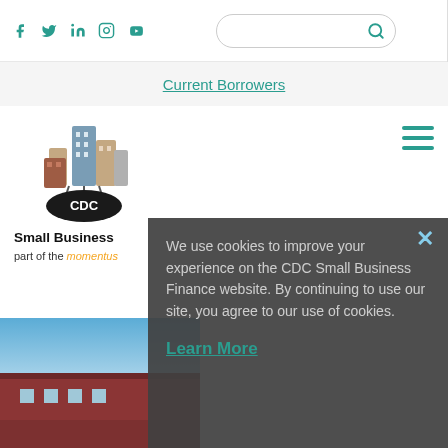Social icons: Facebook, Twitter, LinkedIn, Instagram, YouTube | Search bar | Current Borrowers navigation link
[Figure (logo): CDC Small Business Finance logo: illustrated city buildings above a black oval with CDC text]
Small Business Finance
part of the momentus family
We use cookies to improve your experience on the CDC Small Business Finance website. By continuing to use our site, you agree to our use of cookies.
Learn More